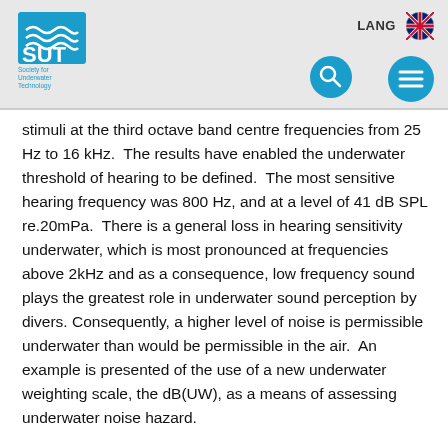[Figure (logo): SUT (Society for Underwater Technology) logo with blue wave graphic and text]
LANG [UK flag] [search icon] [menu icon]
stimuli at the third octave band centre frequencies from 25 Hz to 16 kHz.  The results have enabled the underwater threshold of hearing to be defined.  The most sensitive hearing frequency was 800 Hz, and at a level of 41 dB SPL re.20mPa.  There is a general loss in hearing sensitivity underwater, which is most pronounced at frequencies above 2kHz and as a consequence, low frequency sound plays the greatest role in underwater sound perception by divers.  Consequently, a higher level of noise is permissible underwater than would be permissible in the air.  An example is presented of the use of a new underwater weighting scale, the dB(UW), as a means of assessing underwater noise hazard.